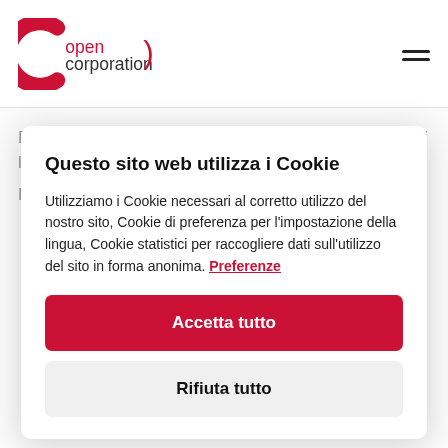opencorporation [logo] [hamburger menu]
Policy a tutela del diritto alla salute e alla sicurezza nei luoghi di lavoro lungo filiera: N/D
Policy sulla diversità: N/D
Questo sito web utilizza i Cookie
Utilizziamo i Cookie necessari al corretto utilizzo del nostro sito, Cookie di preferenza per l'impostazione della lingua, Cookie statistici per raccogliere dati sull'utilizzo del sito in forma anonima. Preferenze
Accetta tutto
Rifiuta tutto